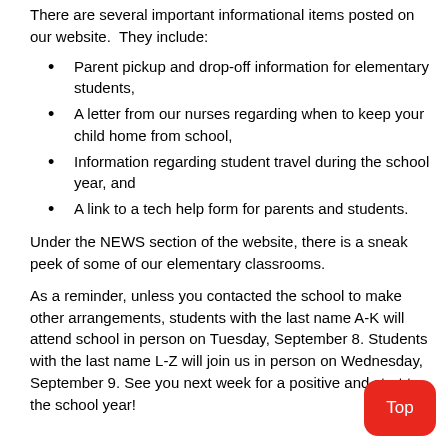There are several important informational items posted on our website.  They include:
Parent pickup and drop-off information for elementary students,
A letter from our nurses regarding when to keep your child home from school,
Information regarding student travel during the school year, and
A link to a tech help form for parents and students.
Under the NEWS section of the website, there is a sneak peek of some of our elementary classrooms.
As a reminder, unless you contacted the school to make other arrangements, students with the last name A-K will attend school in person on Tuesday, September 8. Students with the last name L-Z will join us in person on Wednesday, September 9. See you next week for a positive and start to the school year!